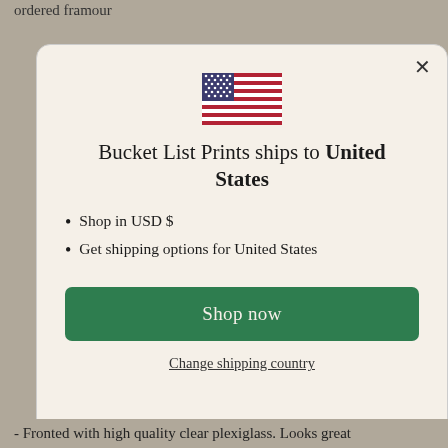ordered framour
[Figure (screenshot): Modal dialog box with US flag, shipping information for United States, bullet points about USD and shipping options, a green 'Shop now' button, and a 'Change shipping country' link]
- Fronted with high quality clear plexiglass. Looks great